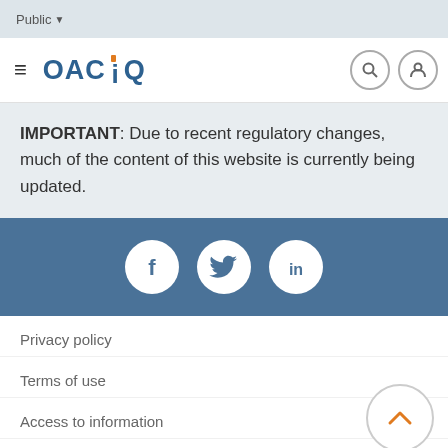Public
[Figure (logo): OACIQ logo with hamburger menu, search and user icons in navigation bar]
IMPORTANT: Due to recent regulatory changes, much of the content of this website is currently being updated.
[Figure (infographic): Social media icons: Facebook, Twitter, LinkedIn on blue background]
Privacy policy
Terms of use
Access to information
Netiquette
Member of the Real Estate Regulators of Canada (RERC)